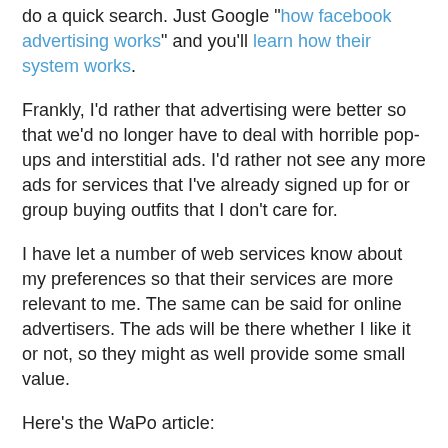do a quick search. Just Google "how facebook advertising works" and you'll learn how their system works.
Frankly, I'd rather that advertising were better so that we'd no longer have to deal with horrible pop-ups and interstitial ads. I'd rather not see any more ads for services that I've already signed up for or group buying outfits that I don't care for.
I have let a number of web services know about my preferences so that their services are more relevant to me. The same can be said for online advertisers. The ads will be there whether I like it or not, so they might as well provide some small value.
Here's the WaPo article:
Operation Track Me More: A writer invites the Web to offer more relevant ads - The Washington Post
By Michael S. Rosenwald, Published: June 17
The other night, after putting the kids to bed and polishing off some cookie-dough ice cream, I